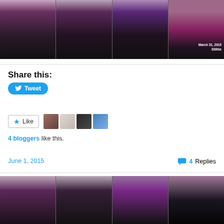[Figure (photo): Four-panel photo collage of a woman at 330lbs taken March 31, 2015, showing front, side, back and face views wearing a purple/pink top]
Share this:
[Figure (screenshot): Twitter Tweet button in blue]
[Figure (screenshot): WordPress Like button with 4 blogger avatar thumbnails]
4 bloggers like this.
June 1, 2015
4 Replies
[Figure (photo): Four-panel photo collage at bottom of page showing the same woman from different angles]